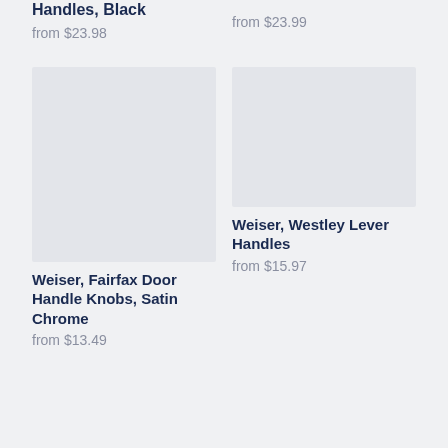Handles, Black
from $23.98
from $23.99
[Figure (photo): Product image placeholder for Weiser Fairfax Door Handle Knobs, Satin Chrome]
Weiser, Fairfax Door Handle Knobs, Satin Chrome
from $13.49
[Figure (photo): Product image placeholder for Weiser Westley Lever Handles]
Weiser, Westley Lever Handles
from $15.97